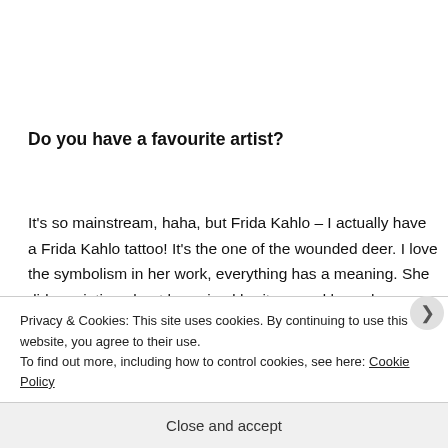Do you have a favourite artist?
It’s so mainstream, haha, but Frida Kahlo – I actually have a Frida Kahlo tattoo! It’s the one of the wounded deer. I love the symbolism in her work, everything has a meaning. She did a painting about her mixed heritage and how she
Privacy & Cookies: This site uses cookies. By continuing to use this website, you agree to their use.
To find out more, including how to control cookies, see here: Cookie Policy
Close and accept